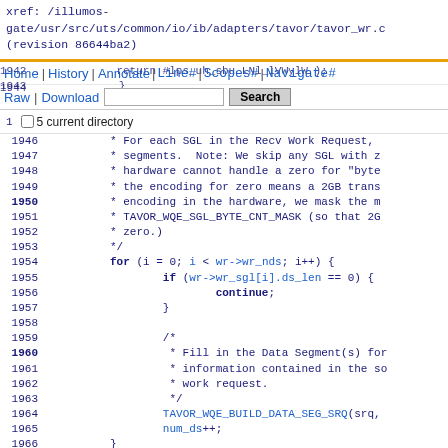xref: /illumos-gate/usr/src/uts/common/io/ib/adapters/tavor/tavor_wr.c (revision 86644ba2)
Home | History | Annotate | Line# | Scopes# | Navigate#
Raw | Download   Search
current directory
1946  * For each SGL in the Recv Work Request,
1947  * segments.  Note: We skip any SGL with z
1948  * hardware cannot handle a zero for "byte
1949  * the encoding for zero means a 2GB trans
1950  * encoding in the hardware, we mask the m
1951  * TAVOR_WQE_SGL_BYTE_CNT_MASK (so that 2G
1952  * zero.)
1953  */
1954  for (i = 0; i < wr->wr_nds; i++) {
1955    if (wr->wr_sgl[i].ds_len == 0) {
1956      continue;
1957    }
1958  
1959  /*
1960  * Fill in the Data Segment(s) for
1961  * information contained in the so
1962  * work request.
1963  */
1964  TAVOR_WQE_BUILD_DATA_SEG_SRQ(srq,
1965  num_ds++;
1966  }
1967